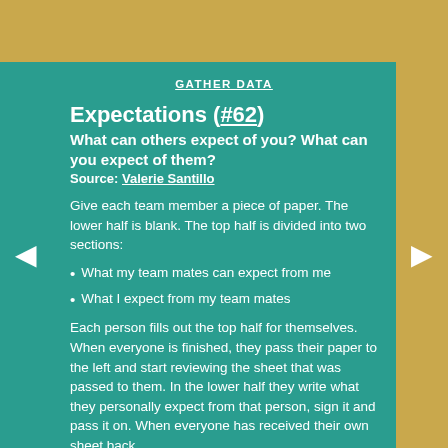GATHER DATA
Expectations (#62)
What can others expect of you? What can you expect of them?
Source: Valerie Santillo
Give each team member a piece of paper. The lower half is blank. The top half is divided into two sections:
What my team mates can expect from me
What I expect from my team mates
Each person fills out the top half for themselves. When everyone is finished, they pass their paper to the left and start reviewing the sheet that was passed to them. In the lower half they write what they personally expect from that person, sign it and pass it on. When everyone has received their own sheet back,